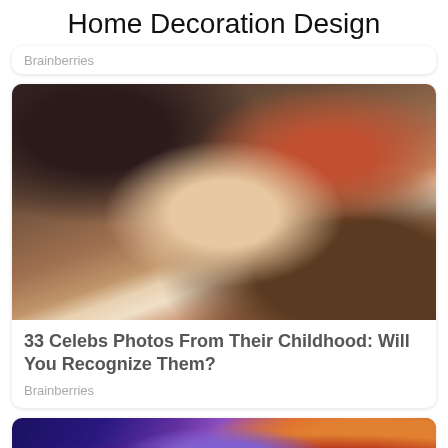Home Decoration Design
Brainberries
[Figure (photo): Childhood photo of a young girl with dark hair, missing a front tooth, wearing a white dress, looking downward with mouth open]
33 Celebs Photos From Their Childhood: Will You Recognize Them?
Brainberries
[Figure (illustration): Colorful superhero illustration with masked female characters in red and blue costumes, with vibrant comic-book style colors]